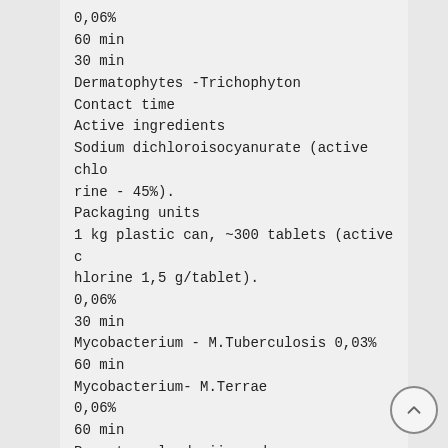0,06%
60 min
30 min
Dermatophytes -Trichophyton
Contact time
Active ingredients
Sodium dichloroisocyanurate (active chlorine - 45%).
Packaging units
1 kg plastic can, ~300 tablets (active chlorine 1,5 g/tablet).
0,06%
30 min
Mycobacterium - M.Tuberculosis 0,03%
60 min
Mycobacterium- M.Terrae
0,06%
60 min
Parenteraalsed viirused
(k. a. HIV, HBV, HCV, Vaccina, Herpes, Influenza)
0,03%
60 min
Enveloped viruses(incl. HAV,